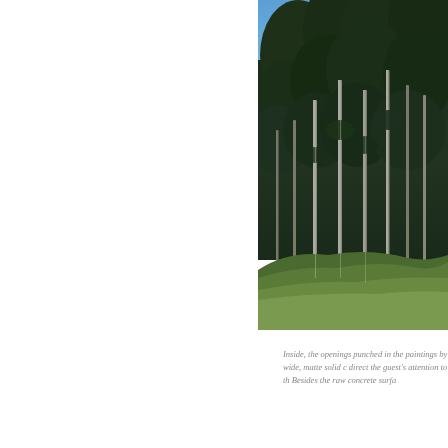[Figure (photo): Photograph of tall conifer trees (spruce/fir) on a grassy hillside against a clear blue sky. Dark dense forest in the background, with several tall slender bare trunks visible in the foreground. Green grass slope at the bottom.]
Inside, the openings punched in the paintings by wide, matte solid c direct the guest's attention to th Besides the raw concrete surfa